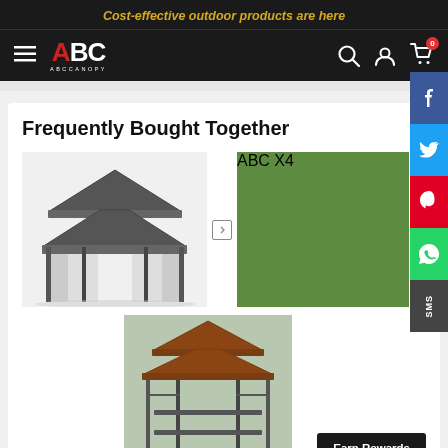Cost-effective outdoor products are here
[Figure (logo): ABC ABCCANOPY logo in red and white on dark background]
Frequently Bought Together
[Figure (photo): Gray double-roof gazebo with mesh curtains]
[Figure (photo): Blue sandbag weights x4 set outdoors]
[Figure (photo): Brown double-roof grill gazebo structure]
Earn Rewards